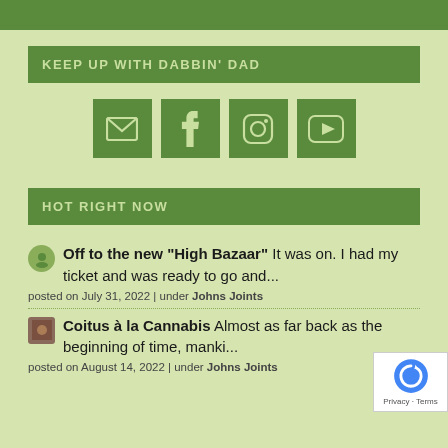KEEP UP WITH DABBIN' DAD
[Figure (infographic): Four social media icon buttons: email envelope, Facebook f, Instagram camera, YouTube play button — dark green squares with light green icons]
HOT RIGHT NOW
Off to the new “High Bazaar” It was on. I had my ticket and was ready to go and...
posted on July 31, 2022 | under Johns Joints
Coitus à la Cannabis Almost as far back as the beginning of time, manki...
posted on August 14, 2022 | under Johns Joints